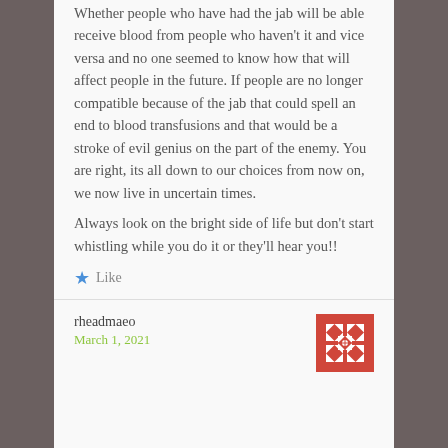Whether people who have had the jab will be able receive blood from people who haven't it and vice versa and no one seemed to know how that will affect people in the future. If people are no longer compatible because of the jab that could spell an end to blood transfusions and that would be a stroke of evil genius on the part of the enemy. You are right, its all down to our choices from now on, we now live in uncertain times.

Always look on the bright side of life but don't start whistling while you do it or they'll hear you!!
★ Like
rheadmaeo
March 1, 2021